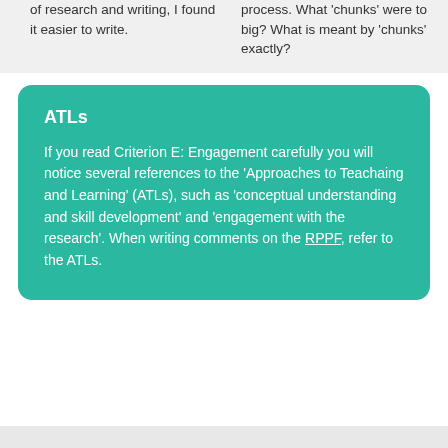of research and writing, I found it easier to write.
process. What 'chunks' were to big? What is meant by 'chunks' exactly?
ATLs
If you read Criterion E: Engagement carefully you will notice several references to the 'Approaches to Teachaing and Learning' (ATLs), such as 'conceptual understanding and skill development' and 'engagement with the research'. When writing comments on the RPPF, refer to the ATLs.